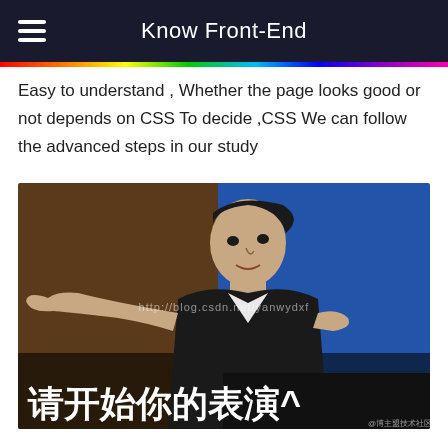Know Front-End
Easy to understand , Whether the page looks good or not depends on CSS To decide ,CSS We can follow the advanced steps in our study
[Figure (photo): A man in a suit gesturing with his hand, with a watermark 'http://blog.csdn.net/yanwydxf' and Chinese text '请开始你的表演^' overlaid at the bottom]